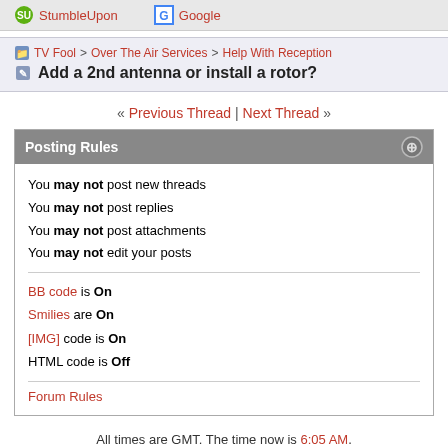StumbleUpon  Google
TV Fool > Over The Air Services > Help With Reception
Add a 2nd antenna or install a rotor?
« Previous Thread | Next Thread »
Posting Rules
You may not post new threads
You may not post replies
You may not post attachments
You may not edit your posts
BB code is On
Smilies are On
[IMG] code is On
HTML code is Off
Forum Rules
All times are GMT. The time now is 6:05 AM.
Contact Us - TV Fool - Archive - Top
Powered by vBulletin® Version 3.8.11